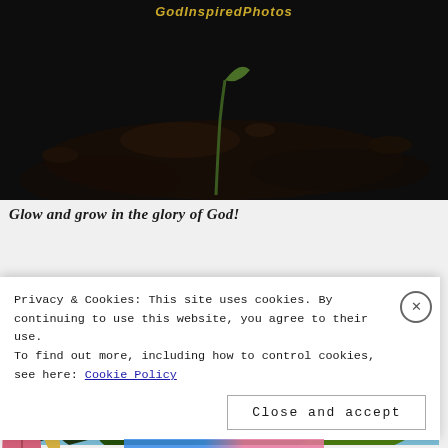[Figure (photo): Dark soil photograph with a small plant sprout, watermark text 'GodInspiredPhotos' in yellow-gold at top center]
Glow and grow in the glory of God!
[Figure (photo): Tropical leaves photograph from below showing large dark green leaves and bright yellow-green leaves against a blue sky]
Privacy & Cookies: This site uses cookies. By continuing to use this website, you agree to their use.
To find out more, including how to control cookies, see here: Cookie Policy
Close and accept